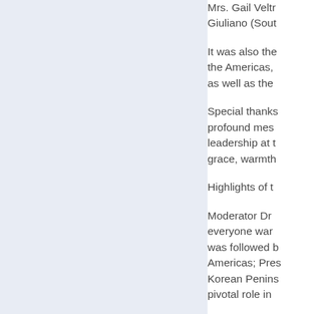Mrs. Gail Veltr… Giuliano (Sout…
It was also the… the Americas, … as well as the …
Special thanks… profound mes… leadership at t… grace, warmth…
Highlights of t…
Moderator Dr… everyone war… was followed b… Americas; Pres… Korean Penins… pivotal role in…